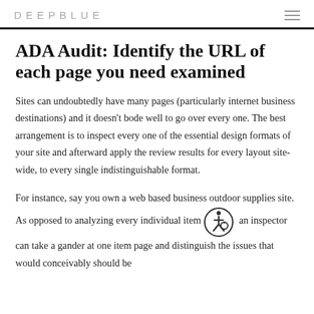DEEPBLUE
ADA Audit: Identify the URL of each page you need examined
Sites can undoubtedly have many pages (particularly internet business destinations) and it doesn't bode well to go over every one. The best arrangement is to inspect every one of the essential design formats of your site and afterward apply the review results for every layout site-wide, to every single indistinguishable format.
For instance, say you own a web based business outdoor supplies site. As opposed to analyzing every individual item an inspector can take a gander at one item page and distinguish the issues that would conceivably should be